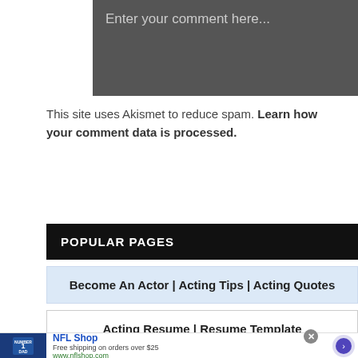[Figure (screenshot): Comment text area input box with dark gray background and placeholder text 'Enter your comment here...']
This site uses Akismet to reduce spam. Learn how your comment data is processed.
POPULAR PAGES
Become An Actor | Acting Tips | Acting Quotes
Acting Resume | Resume Template
[Figure (screenshot): Advertisement banner for NFL Shop showing jersey image, text 'NFL Shop', 'Free shipping on orders over $25', 'www.nflshop.com', close button, and arrow navigation button]